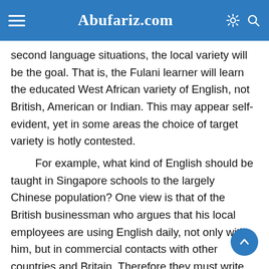Abufariz.com
second language situations, the local variety will be the goal. That is, the Fulani learner will learn the educated West African variety of English, not British, American or Indian. This may appear self-evident, yet in some areas the choice of target variety is hotly contested.
For example, what kind of English should be taught in Singapore schools to the largely Chinese population? One view is that of the British businessman who argues that his local employees are using English daily, not only with him, but in commercial contacts with other countries and Britain. Therefore they must write their letters and speak on the telephone in a universally understood form of English. This is the argument for teaching British Received Pronunciation (RP), which Daniel Jones defined as that 'most usually heard in the families of Southern English people who have been educated at the public